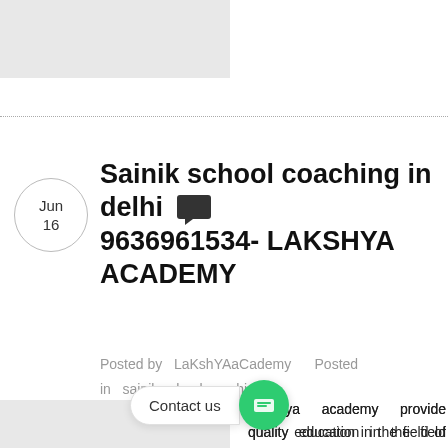[Figure (photo): Gray placeholder image at top left]
Sainik school coaching in delhi 9636961534- LAKSHYA ACADEMY
Posted by  LaKshYAaCademy     Posted in  sainik school coaching
[Figure (photo): Gray placeholder image at bottom left]
Lakshya academy provide quality education in the field of Sainik School coaching in D... coaching in Delhi also Sainik School